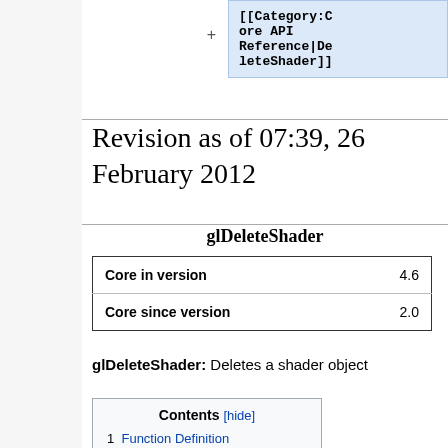[Figure (screenshot): Code box showing [[Category:Core API Reference|DeleteShader]] with blue background, monospace bold text]
Revision as of 07:39, 26 February 2012
glDeleteShader
|  |  |
| --- | --- |
| Core in version | 4.6 |
| Core since version | 2.0 |
glDeleteShader: Deletes a shader object
Contents [hide]
1 Function Definition
2 Description
3 Errors